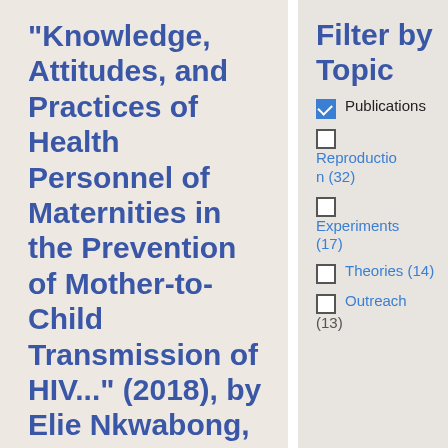“Knowledge, Attitudes, and Practices of Health Personnel of Maternities in the Prevention of Mother-to-Child Transmission of HIV...” (2018), by Elie Nkwabong, Romuald Meboulou Nguel
Filter by Topic
Publications (checked)
Reproduction (32)
Experiments (17)
Theories (14)
Outreach (13)